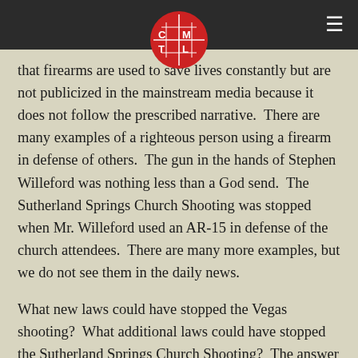CMTL logo and navigation header
that firearms are used to save lives constantly but are not publicized in the mainstream media because it does not follow the prescribed narrative.  There are many examples of a righteous person using a firearm in defense of others.  The gun in the hands of Stephen Willeford was nothing less than a God send.  The Sutherland Springs Church Shooting was stopped when Mr. Willeford used an AR-15 in defense of the church attendees.  There are many more examples, but we do not see them in the daily news.
What new laws could have stopped the Vegas shooting?  What additional laws could have stopped the Sutherland Springs Church Shooting?  The answer is no new laws could have stopped them.  Those that have intent to cause harm will always find a way.  Many people have been able to